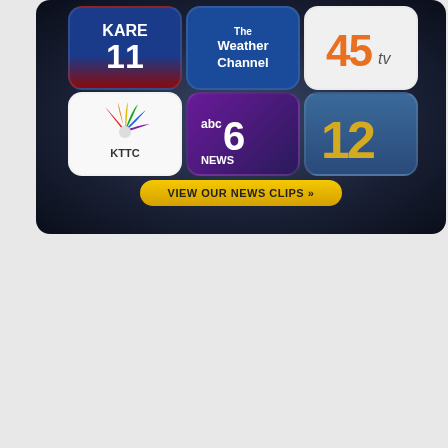[Figure (screenshot): A dark rounded-rectangle panel showing a 2x3 grid of TV/news app icons: KARE 11, The Weather Channel, 45tv, KTTC (NBC), abc6 NEWS, and Channel 12. Below the icons is a yellow button labeled 'VIEW OUR NEWS CLIPS »']
[Figure (screenshot): A YouTube-style video embed showing a video titled 'Heavy Demand for Ice Dam Rem...' with a play button in the center. The video thumbnail shows a person in a dark jacket in a winter/snowy outdoor scene with a house visible on the right.]